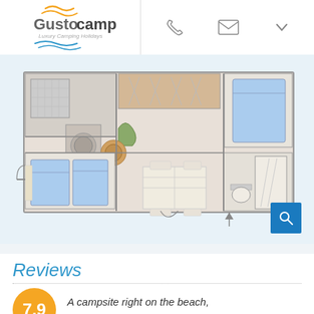[Figure (logo): Gustocamp logo with orange wave graphic and tagline 'Luxury Camping Holidays']
[Figure (schematic): Floor plan of a mobile home / camping chalet showing rooms: bathroom, toilet, kitchen area, living/dining area, two bedrooms with blue beds]
Reviews
A campsite right on the beach, great!